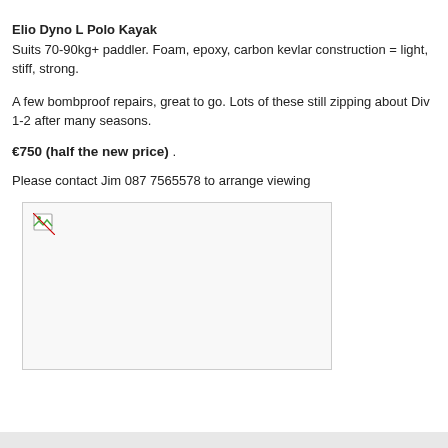Elio Dyno L Polo Kayak
Suits 70-90kg+ paddler. Foam, epoxy, carbon kevlar construction = light, stiff, strong.
A few bombproof repairs, great to go. Lots of these still zipping about Div 1-2 after many seasons.
€750 (half the new price) .
Please contact Jim 087 7565578 to arrange viewing
[Figure (photo): Broken/missing image placeholder showing a small broken image icon in top-left corner of a light grey bordered box]